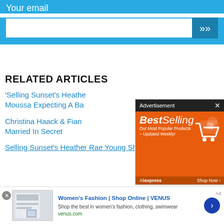Your email
[Figure (screenshot): Email input box with submit button (chevron >>)]
RELATED ARTICLES
'Selling Sunset's Heather Moussa Expecting A Ba...
Christina Haack & Fian... Married In Secret
Selling Sunset's Heather Rae Young Shares...
[Figure (screenshot): Advertisement overlay: BestSelling - AliExpress, Our Most Popular Products - Updated Weekly! Shop Now button]
[Figure (screenshot): Bottom ad bar: Women's Fashion | Shop Online | VENUS - Shop the best in women's fashion, clothing, swimwear - venus.com]